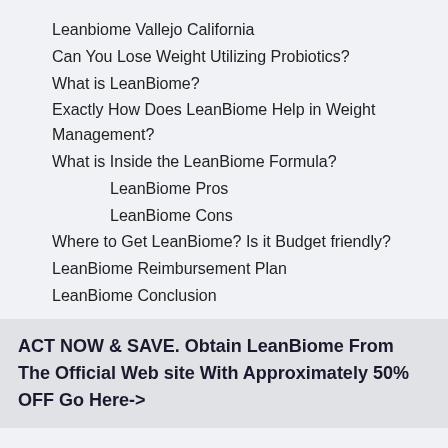Leanbiome Vallejo California
Can You Lose Weight Utilizing Probiotics?
What is LeanBiome?
Exactly How Does LeanBiome Help in Weight Management?
What is Inside the LeanBiome Formula?
LeanBiome Pros
LeanBiome Cons
Where to Get LeanBiome? Is it Budget friendly?
LeanBiome Reimbursement Plan
LeanBiome Conclusion
ACT NOW & SAVE. Obtain LeanBiome From The Official Web site With Approximately 50% OFF Go Here->